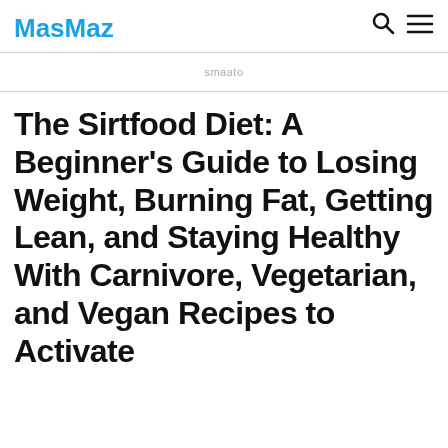MasMaz
smaato
The Sirtfood Diet: A Beginner's Guide to Losing Weight, Burning Fat, Getting Lean, and Staying Healthy With Carnivore, Vegetarian, and Vegan Recipes to Activate